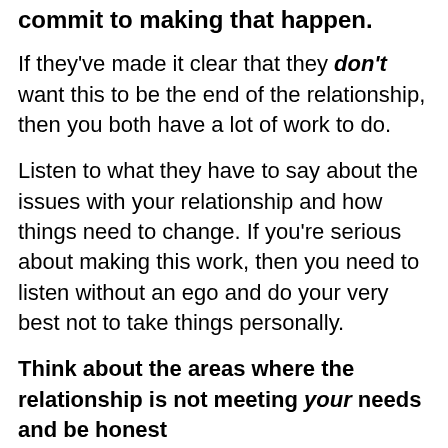commit to making that happen.
If they've made it clear that they don't want this to be the end of the relationship, then you both have a lot of work to do.
Listen to what they have to say about the issues with your relationship and how things need to change. If you're serious about making this work, then you need to listen without an ego and do your very best not to take things personally.
Think about the areas where the relationship is not meeting your needs and be honest